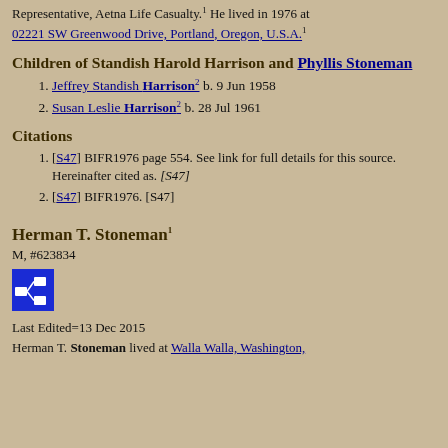Representative, Aetna Life Casualty.1 He lived in 1976 at 02221 SW Greenwood Drive, Portland, Oregon, U.S.A.1
Children of Standish Harold Harrison and Phyllis Stoneman
Jeffrey Standish Harrison2 b. 9 Jun 1958
Susan Leslie Harrison2 b. 28 Jul 1961
Citations
[S47] BIFR1976 page 554. See link for full details for this source. Hereinafter cited as. [S47]
[S47] BIFR1976. [S47]
Herman T. Stoneman1
M, #623834
[Figure (other): Blue icon/button with pedigree chart symbol]
Last Edited=13 Dec 2015
Herman T. Stoneman lived at Walla Walla, Washington,